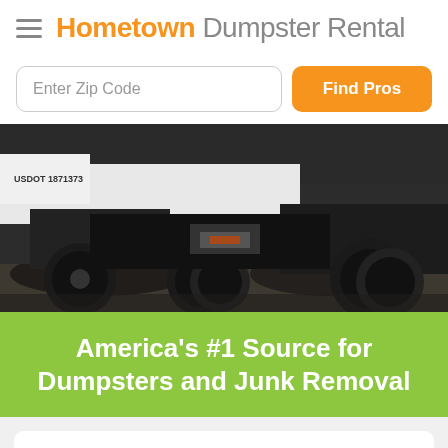Hometown Dumpster Rental
Enter Zip Code
Find Pros
[Figure (photo): Close-up photo of the undercarriage and wheels of a large truck on pavement, with USDOT 1871373 visible on the vehicle.]
America's #1 Source for Dumpsters and Junk Removal
[Figure (logo): Partial circular logo with text 'HAULING & ROLLO' visible, with a lime-green rectangular border.]